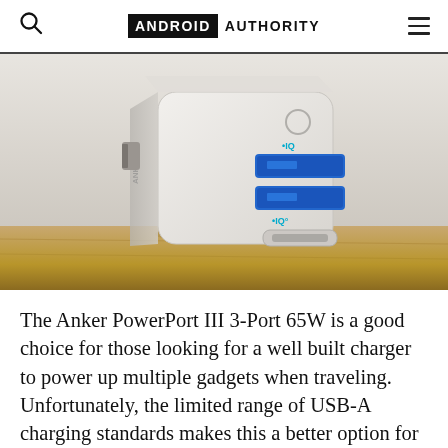ANDROID AUTHORITY
[Figure (photo): An Anker PowerPort III 3-Port 65W charger sitting on a wooden surface. The white charger shows two USB-A ports with IQ labels and one USB-C port at the bottom, also with an IQ label.]
The Anker PowerPort III 3-Port 65W is a good choice for those looking for a well built charger to power up multiple gadgets when traveling. Unfortunately, the limited range of USB-A charging standards makes this a better option for Apple rather than Android consumers. Especially